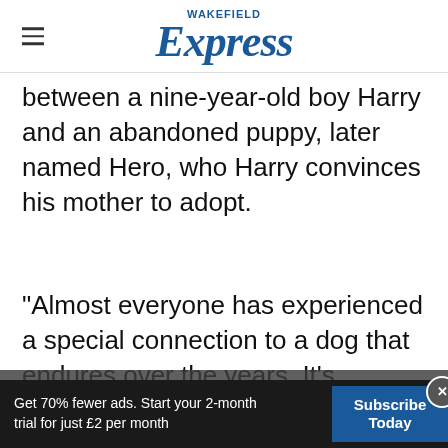Wakefield Express
between a nine-year-old boy Harry and an abandoned puppy, later named Hero, who Harry convinces his mother to adopt.
“Almost everyone has experienced a special connection to a dog that endures over the years. It’s sometimes difficult to describe such a bond in words - but we feel that Harry and He…
Get 70% fewer ads. Start your 2-month trial for just £2 per month  |  Subscribe Today